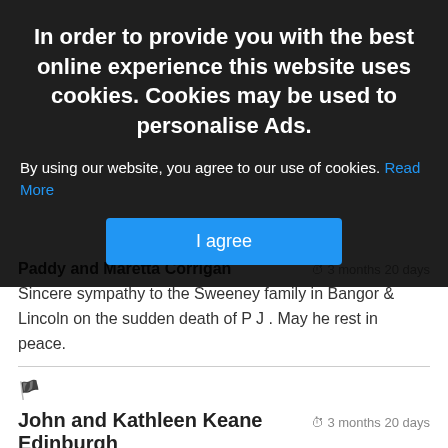[Figure (screenshot): Cookie consent overlay with dark semi-transparent background. Title: 'In order to provide you with the best online experience this website uses cookies. Cookies may be used to personalise Ads.' Body text: 'By using our website, you agree to our use of cookies. Read More' with a blue 'I agree' button.]
Paddy and Maretta Corrigan
3 months 20 days
Sincere sympathy to the Sweeney family in Bangor & Lincoln on the sudden death of P J . May he rest in peace.
John and Kathleen Keane Edinburgh
3 months 20 days
Deepest Sympathy to all the Sweeney family...